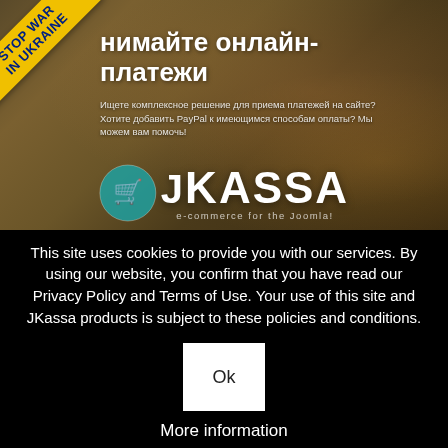[Figure (screenshot): JKassa website banner showing a woman using a smartphone with Russian text 'Accept online payments' and a Stop War in Ukraine ribbon in the top-left corner. The JKassa e-commerce for Joomla logo is shown at the bottom of the banner.]
This site uses cookies to provide you with our services. By using our website, you confirm that you have read our Privacy Policy and Terms of Use. Your use of this site and JKassa products is subject to these policies and conditions.
Ok
More information